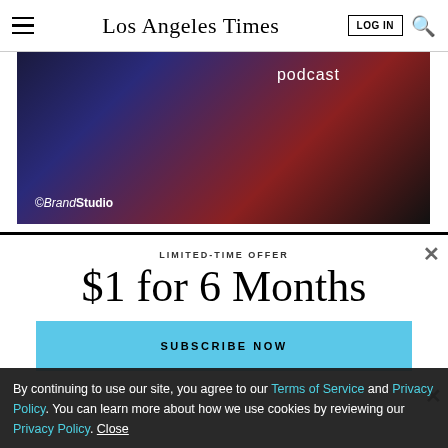Los Angeles Times
[Figure (photo): Promotional banner image showing a man in a suit with podcast branding and ©BrandStudio logo overlay on a colorful dark background]
LIMITED-TIME OFFER
$1 for 6 Months
SUBSCRIBE NOW
By continuing to use our site, you agree to our Terms of Service and Privacy Policy. You can learn more about how we use cookies by reviewing our Privacy Policy. Close